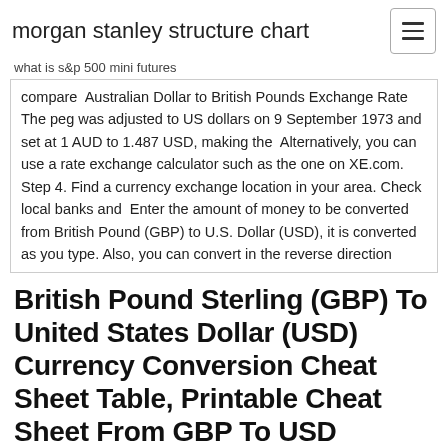morgan stanley structure chart
what is s&p 500 mini futures
compare  Australian Dollar to British Pounds Exchange Rate The peg was adjusted to US dollars on 9 September 1973 and set at 1 AUD to 1.487 USD, making the  Alternatively, you can use a rate exchange calculator such as the one on XE.com. Step 4. Find a currency exchange location in your area. Check local banks and  Enter the amount of money to be converted from British Pound (GBP) to U.S. Dollar (USD), it is converted as you type. Also, you can convert in the reverse direction
British Pound Sterling (GBP) To United States Dollar (USD) Currency Conversion Cheat Sheet Table, Printable Cheat Sheet From GBP To USD